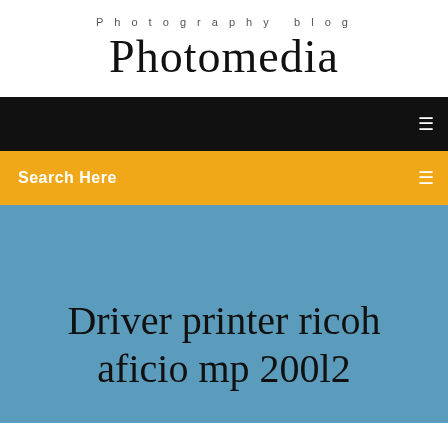Photography blog
Photomedia
[Figure (screenshot): Black navigation bar with a small white menu icon on the right]
Search Here
Driver printer ricoh aficio mp 200l2